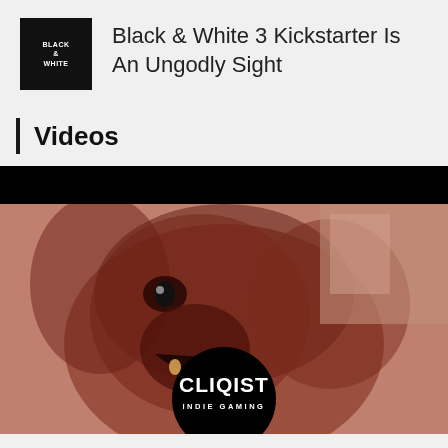Black & White 3 Kickstarter Is An Ungodly Sight
Videos
[Figure (screenshot): Video thumbnail showing a creature/monster with fur and open mouth wearing a Cliqist Indie Gaming branded overlay. The image has a red/sepia tone with a black circular Cliqist logo at the bottom center.]